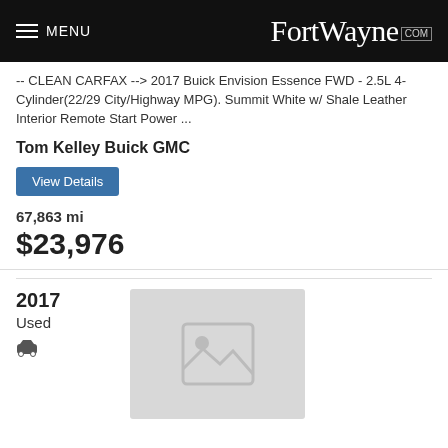MENU FortWayne.com
-- CLEAN CARFAX --> 2017 Buick Envision Essence FWD - 2.5L 4-Cylinder(22/29 City/Highway MPG). Summit White w/ Shale Leather Interior Remote Start Power ...
Tom Kelley Buick GMC
View Details
67,863 mi
$23,976
[Figure (photo): Placeholder image icon for vehicle listing]
2017
Used